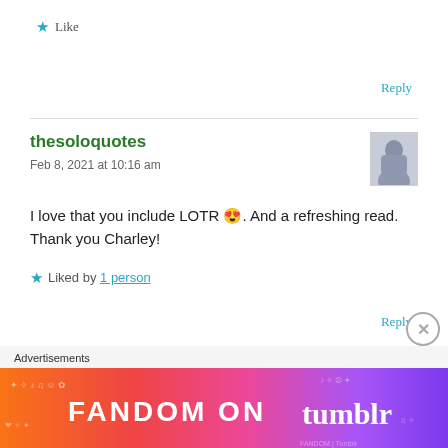★ Like
Reply
thesoloquotes
Feb 8, 2021 at 10:16 am
I love that you include LOTR 😍. And a refreshing read. Thank you Charley!
★ Liked by 1 person
Reply
Advertisements
[Figure (other): Fandom on Tumblr advertisement banner with colorful gradient background (orange to purple) and bold white text reading FANDOM ON tumblr]